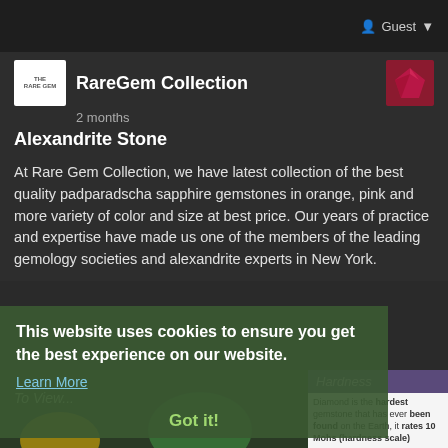Guest
RareGem Collection
2 months
Alexandrite Stone
At Rare Gem Collection, we have latest collection of the best quality padparadscha sapphire gemstones in orange, pink and more variety of color and size at best price. Our years of practice and expertise have made us one of the members of the leading gemology societies and alexandrite experts in New York.
To View...
This website uses cookies to ensure you get the best experience on our website.
Learn More
Hardness
Diamond is the hardest gemstone that has ever been found on the Earth, it rates 10 Mohs (hardness scale)
Got it!